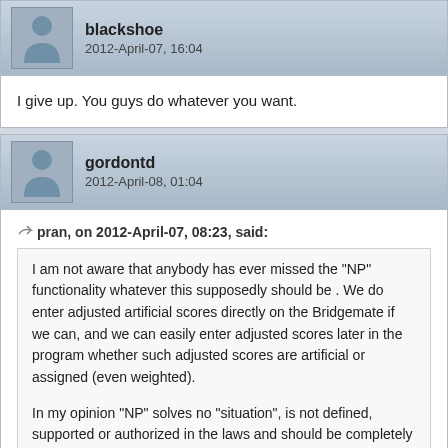blackshoe
2012-April-07, 16:04
I give up. You guys do whatever you want.
gordontd
2012-April-08, 01:04
pran, on 2012-April-07, 08:23, said:
I am not aware that anybody has ever missed the "NP" functionality whatever this supposedly should be . We do enter adjusted artificial scores directly on the Bridgemate if we can, and we can easily enter adjusted scores later in the program whether such adjusted scores are artificial or assigned (even weighted).

In my opinion "NP" solves no "situation", is not defined, supported or authorized in the laws and should be completely avoided. Whenever anybody feels the need for entering "NP" they should instead directly enter an assigned artificial score.
I agree with you about entering artificial adjusted scores in the